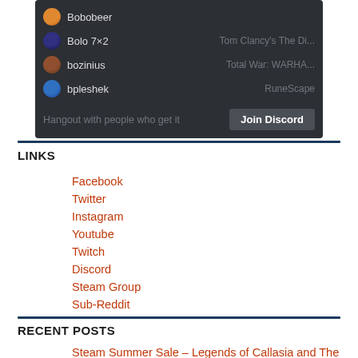[Figure (screenshot): Discord widget showing users Bobobeer, Bolo 7×2 (playing Tom Clancy's The Di...), bozinius (playing Total War: WARHA...), bpleshek (playing RuneScape), with a 'Hangout with people who get it' message and 'Join Discord' button]
LINKS
Facebook
Twitter
Instagram
Youtube
Twitch
Discord
Steam Group
Sub-Reddit
RECENT POSTS
Steam Summer Sale – Legends of Callasia and The Colonists are 75% Off!...